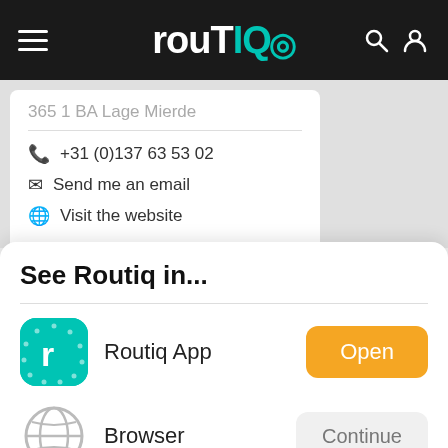routiq (logo navigation bar)
365 1 BA Lage Mierde
📞 +31 (0)137 63 53 02
✉ Send me an email
🌐 Visit the website
See Routiq in...
Routiq App
Open
Browser
Continue